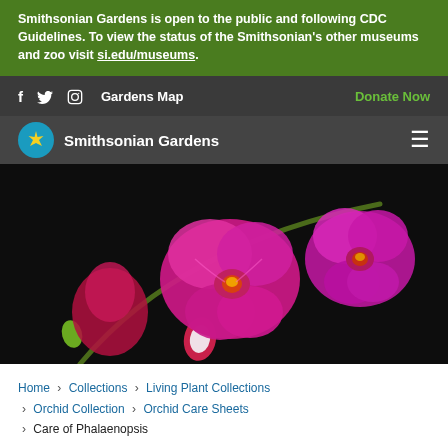Smithsonian Gardens is open to the public and following CDC Guidelines. To view the status of the Smithsonian's other museums and zoo visit si.edu/museums.
f  Twitter  Instagram  Gardens Map  Donate Now
Smithsonian Gardens
[Figure (photo): Close-up photograph of bright pink/magenta Phalaenopsis orchid flowers on a stem with buds, against a dark background.]
Home › Collections › Living Plant Collections › Orchid Collection › Orchid Care Sheets › Care of Phalaenopsis